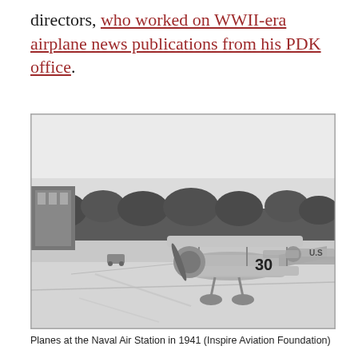directors, who worked on WWII-era airplane news publications from his PDK office.
[Figure (photo): Black and white photograph of biplane aircraft (numbered 30) parked on tarmac at a Naval Air Station, with trees and a building visible in the background, taken in 1941.]
Planes at the Naval Air Station in 1941 (Inspire Aviation Foundation)